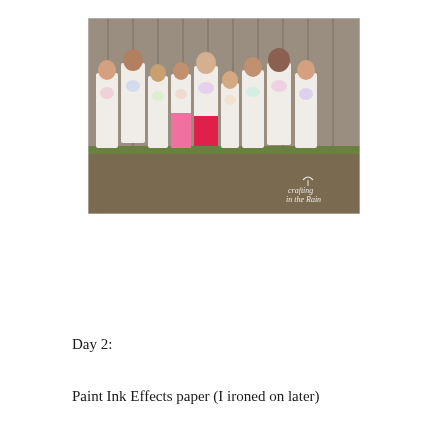[Figure (photo): Group photo of approximately 9 girls standing in a row in front of a wooden fence, each wearing a white t-shirt with colorful painted designs. Girls are wearing various bottoms including jeans, pink leggings, and a black skirt. A 'Crafting in the Rain' watermark logo appears in the bottom right corner of the photo.]
Day 2:
Paint Ink Effects paper (I ironed on later)